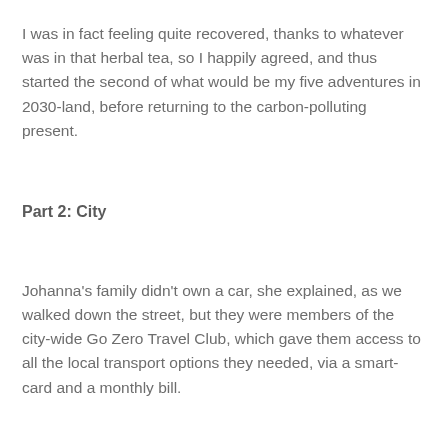I was in fact feeling quite recovered, thanks to whatever was in that herbal tea, so I happily agreed, and thus started the second of what would be my five adventures in 2030-land, before returning to the carbon-polluting present.
Part 2: City
Johanna's family didn't own a car, she explained, as we walked down the street, but they were members of the city-wide Go Zero Travel Club, which gave them access to all the local transport options they needed, via a smart-card and a monthly bill.